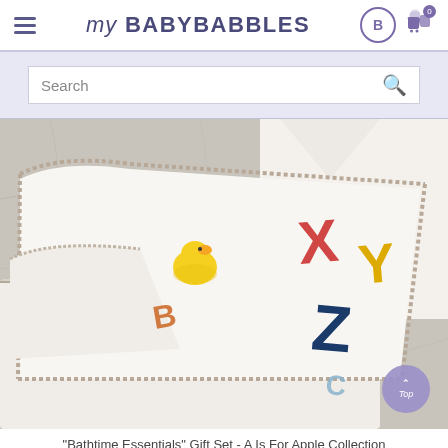my BABY BABBLES
Search
[Figure (photo): Baby bathtime gift set with white hooded towels and washcloths featuring colorful alphabet letter appliques (X, Y, Z, B, C) with gingham trim, and a yellow rubber duck toy, arranged on a marble surface.]
"Bathtime Essentials" Gift Set - A Is For Apple Collection